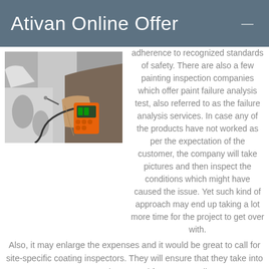Ativan Online Offer
[Figure (photo): A person holding an orange digital coating thickness gauge device, testing a white surface in an industrial or automotive setting.]
adherence to recognized standards of safety. There are also a few painting inspection companies which offer paint failure analysis test, also referred to as the failure analysis services. In case any of the products have not worked as per the expectation of the customer, the company will take pictures and then inspect the conditions which might have caused the issue. Yet such kind of approach may end up taking a lot more time for the project to get over with. Also, it may enlarge the expenses and it would be great to call for site-specific coating inspectors. They will ensure that they take into account environmental factors as well